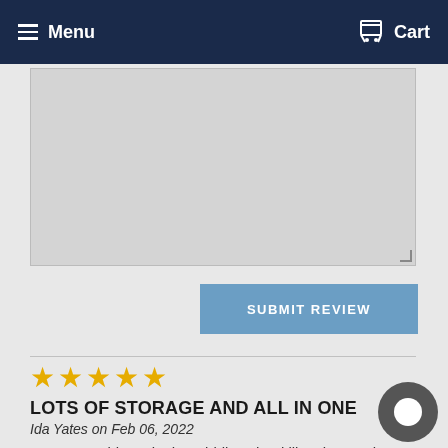Menu   Cart
[Figure (screenshot): Text area input box for review submission]
SUBMIT REVIEW
[Figure (other): Five gold stars rating]
LOTS OF STORAGE AND ALL IN ONE
Ida Yates on Feb 06, 2022
My 10 yrs old son in the Middle school likes it. Very l colour, easy to clean and good portion. I like that I ca one, two or all three of the parts. Good quality with stainless steel 306